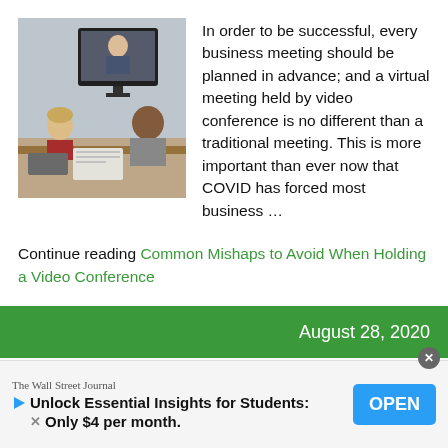[Figure (photo): Business meeting scene with people sitting at a table watching a video conference on a screen showing a man in a suit]
In order to be successful, every business meeting should be planned in advance; and a virtual meeting held by video conference is no different than a traditional meeting. This is more important than ever now that COVID has forced most business …
Continue reading Common Mishaps to Avoid When Holding a Video Conference
August 28, 2020
The Wall Street Journal
Unlock Essential Insights for Students: Only $4 per month.